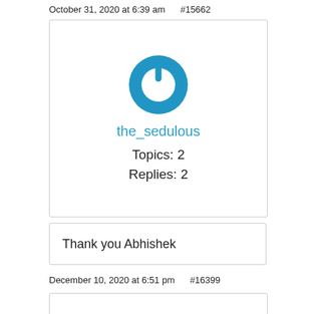October 31, 2020 at 6:39 am    #15662
[Figure (logo): Blue circular power button icon for user the_sedulous]
the_sedulous
Topics: 2
Replies: 2
Thank you Abhishek
December 10, 2020 at 6:51 pm    #16399